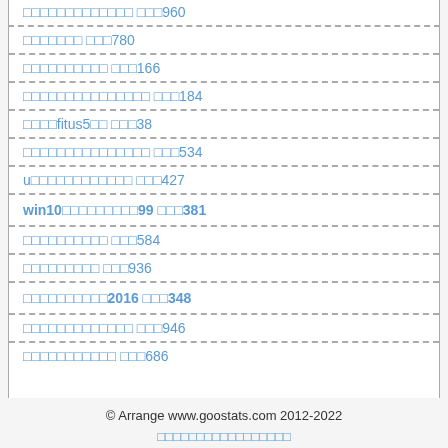□□□□□□□□□□□□□ □□□960
□□□□□□□ □□□780
□□□□□□□□□□ □□□166
□□□□□□□□□□□□□□□ □□□184
□□□□fitus5□□ □□□38
□□□□□□□□□□□□□□□ □□□534
u□□□□□□□□□□□□ □□□427
win10□□□□□□□□□99 □□□381
□□□□□□□□□□ □□□584
□□□□□□□□□ □□□936
□□□□□□□□□□2016 □□□348
□□□□□□□□□□□□□ □□□946
□□□□□□□□□□□ □□□686
© Arrange www.goostats.com 2012-2022
□□□□□□□□□□□□□□□□□